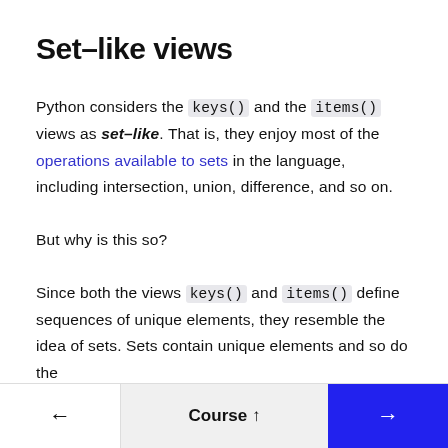Set-like views
Python considers the keys() and the items() views as set-like. That is, they enjoy most of the operations available to sets in the language, including intersection, union, difference, and so on.
But why is this so?
Since both the views keys() and items() define sequences of unique elements, they resemble the idea of sets. Sets contain unique elements and so do the
← Course ↑ →